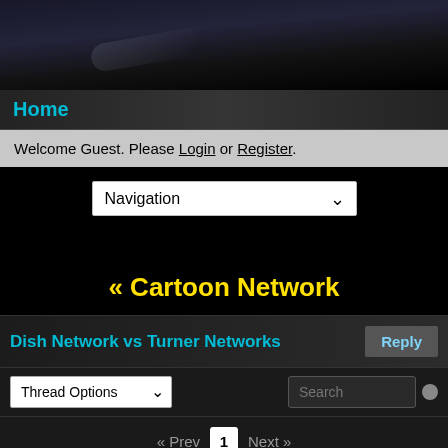[Figure (screenshot): Dark forum website header gradient background with shine reflection]
Home
Welcome Guest. Please Login or Register.
Navigation (dropdown)
« Cartoon Network
Dish Network vs Turner Networks
Thread Options (dropdown) | Search | Reply
« Prev  1  Next »
The Ultimate Nullifier
Administrator
★★★★★
Oct 21, 2014 at 11:54pm